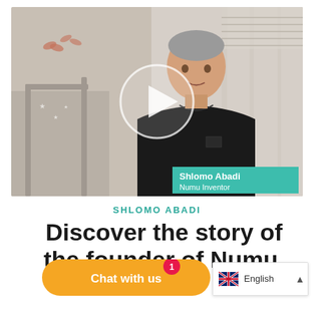[Figure (photo): Video thumbnail showing a middle-aged man with short grey hair wearing a black t-shirt, standing in front of a light curtain with decorative elements. A white circular play button overlay is centered on the image. A teal/green label in the lower right reads 'Shlomo Abadi / Numu Inventor'.]
SHLOMO ABADI
Discover the story of the founder of Numu.
[Figure (other): Orange chat widget button labeled 'Chat with us' with a red notification badge showing '1']
[Figure (other): Language selector showing UK flag and 'English' with an up arrow]